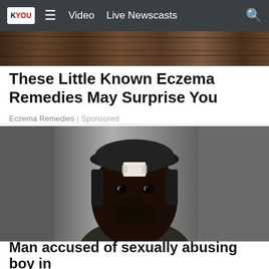KYOU | Video  Live Newscasts  [search]
[Figure (photo): Decorative wood/bark texture image strip at top of page]
These Little Known Eczema Remedies May Surprise You
Eczema Remedies | Sponsored
[Figure (photo): Mugshot photo of a man with a bandage on his forehead, wearing a dark cap and dark shirt, against a grey background]
Man accused of sexually abusing boy in